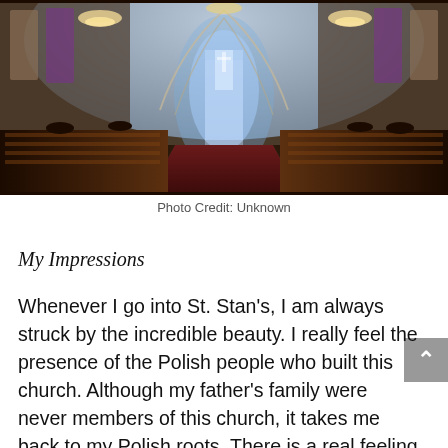[Figure (photo): Interior of a grand Catholic church (St. Stan's) viewed from the back, showing ornate golden arched ceiling, chandeliers, stained glass windows, wooden pews with people seated, and an illuminated altar at the far end with a red carpet aisle.]
Photo Credit: Unknown
My Impressions
Whenever I go into St. Stan's, I am always struck by the incredible beauty. I really feel the presence of the Polish people who built this church. Although my father's family were never members of this church, it takes me back to my Polish roots. There is a real feeling of Polonia